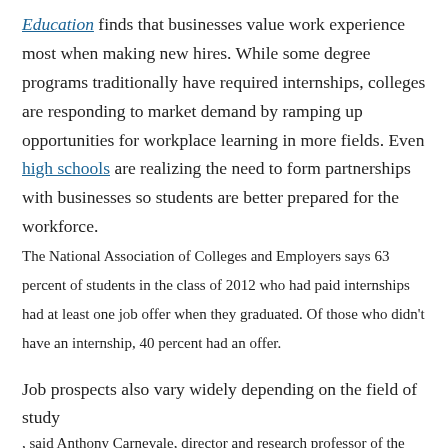Education finds that businesses value work experience most when making new hires. While some degree programs traditionally have required internships, colleges are responding to market demand by ramping up opportunities for workplace learning in more fields. Even high schools are realizing the need to form partnerships with businesses so students are better prepared for the workforce. The National Association of Colleges and Employers says 63 percent of students in the class of 2012 who had paid internships had at least one job offer when they graduated. Of those who didn't have an internship, 40 percent had an offer.
Job prospects also vary widely depending on the field of study, said Anthony Carnevale, director and research professor of the Georgetown University Center on Education and the Workforce, speaking Monday at a meeting of the Association of Career and Technical Education. His research has found those who study engineering, computer/mathematics, and business also have higher lifetime earnings than those in education, psychology/counseling, or human services.